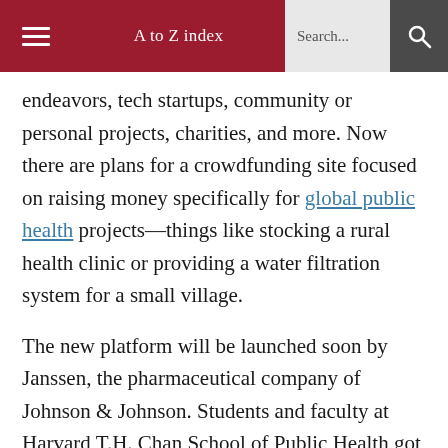A to Z index  Search...
endeavors, tech startups, community or personal projects, charities, and more. Now there are plans for a crowdfunding site focused on raising money specifically for global public health projects—things like stocking a rural health clinic or providing a water filtration system for a small village.
The new platform will be launched soon by Janssen, the pharmaceutical company of Johnson & Johnson. Students and faculty at Harvard T.H. Chan School of Public Health got an overview about how the platform will work on April 30, 2015 in Kresge 502 from Derek Fetzer, a director of